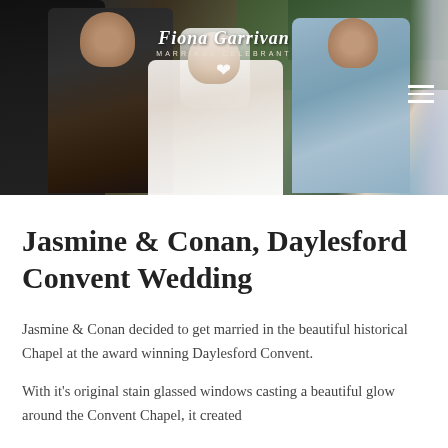[Figure (photo): Wedding ceremony photo showing a groom in dark suit, a bride in white dress, and a woman in blue dress leaning over, with green foliage in background. Logo overlay reads 'Fiona Garrivan Marriage Celebrant' with a heart symbol. Hamburger menu icon visible top right.]
Jasmine & Conan, Daylesford Convent Wedding
Jasmine & Conan decided to get married in the beautiful historical Chapel at the award winning Daylesford Convent.
With it's original stain glassed windows casting a beautiful glow around the Convent Chapel, it created